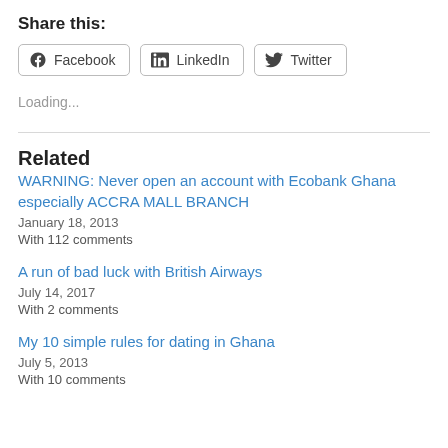Share this:
Facebook  LinkedIn  Twitter
Loading...
Related
WARNING: Never open an account with Ecobank Ghana especially ACCRA MALL BRANCH
January 18, 2013
With 112 comments
A run of bad luck with British Airways
July 14, 2017
With 2 comments
My 10 simple rules for dating in Ghana
July 5, 2013
With 10 comments